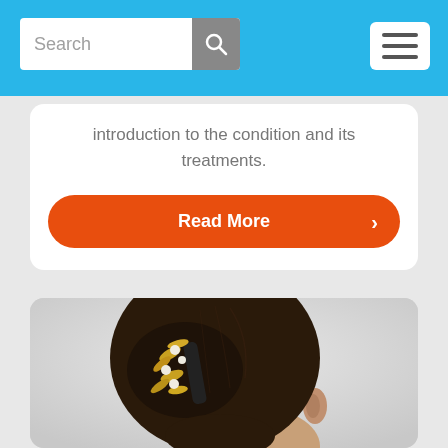Search
introduction to the condition and its treatments.
Read More
[Figure (photo): Back view of a woman's head with dark hair pinned up using a decorative hair clip with gold and pearl ornaments, wearing a black hair clip, shown from behind against a light gray background.]